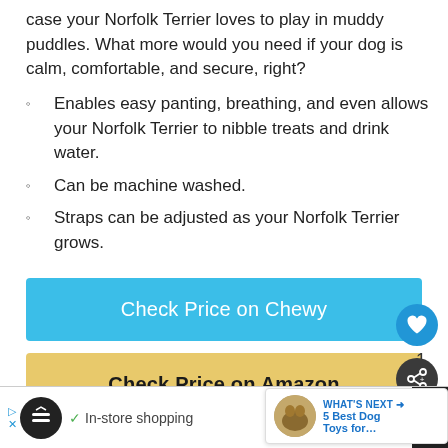case your Norfolk Terrier loves to play in muddy puddles. What more would you need if your dog is calm, comfortable, and secure, right?
Enables easy panting, breathing, and even allows your Norfolk Terrier to nibble treats and drink water.
Can be machine washed.
Straps can be adjusted as your Norfolk Terrier grows.
Check Price on Chewy
Check Price on Amazon
In-store shopping